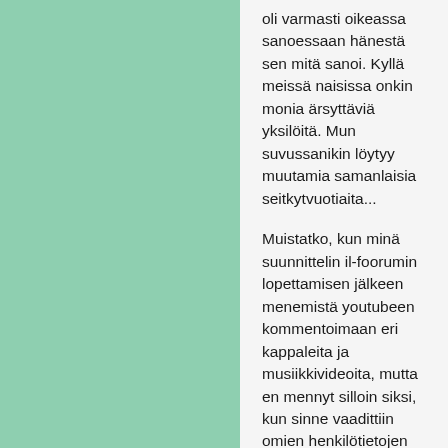oli varmasti oikeassa sanoessaan hänestä sen mitä sanoi. Kyllä meissä naisissa onkin monia ärsyttäviä yksilöitä. Mun suvussanikin löytyy muutamia samanlaisia seitkytvuotiaita...
Muistatko, kun minä suunnittelin il-foorumin lopettamisen jälkeen menemistä youtubeen kommentoimaan eri kappaleita ja musiikkivideoita, mutta en mennyt silloin siksi, kun sinne vaadittiin omien henkilötietojen antamista. Mutta siihen on tullut nyt muutos ja minä pääsenkin sinne vain kirjautumalla googleen salasanalla.